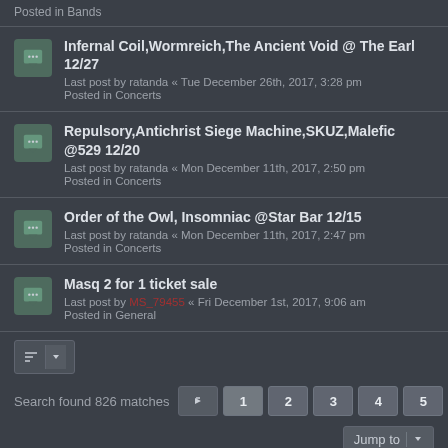Posted in Bands
Infernal Coil,Wormreich,The Ancient Void @ The Earl 12/27
Last post by ratanda « Tue December 26th, 2017, 3:28 pm
Posted in Concerts
Repulsory,Antichrist Siege Machine,SKUZ,Malefic @529 12/20
Last post by ratanda « Mon December 11th, 2017, 2:50 pm
Posted in Concerts
Order of the Owl, Insomniac @Star Bar 12/15
Last post by ratanda « Mon December 11th, 2017, 2:47 pm
Posted in Concerts
Masq 2 for 1 ticket sale
Last post by MS_79455 « Fri December 1st, 2017, 9:06 am
Posted in General
Search found 826 matches  1 2 3 4 5 ... 17
Jump to